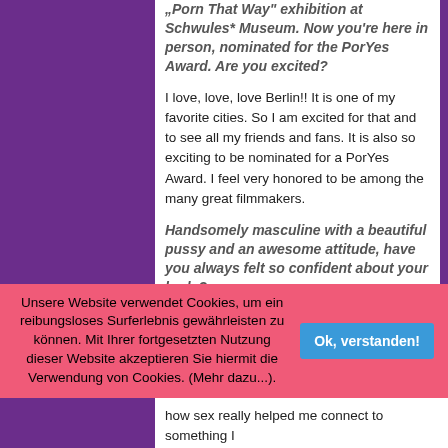"Porn That Way" exhibition at Schwules* Museum. Now you're here in person, nominated for the PorYes Award. Are you excited?
I love, love, love Berlin!! It is one of my favorite cities. So I am excited for that and to see all my friends and fans. It is also so exciting to be nominated for a PorYes Award. I feel very honored to be among the many great filmmakers.
Handsomely masculine with a beautiful pussy and an awesome attitude, have you always felt so confident about your body?
Well thank you my friend. For me it is very important to always stay humble around my success. I want to be approachable to people. As for my body, no way! I really actually hated my body for most of my life.
Unsere Website verwendet Cookies, um ein reibungsloses Surferlebnis gewährleisten zu können. Mit Ihrer fortgesetzten Nutzung dieser Website akzeptieren Sie hiermit die Verwendung von Cookies. (Mehr dazu...).
how sex really helped me connect to something I